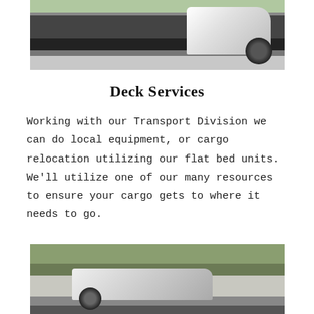[Figure (photo): A white flatbed truck on a road, side profile view showing the flat deck bed.]
Deck Services
Working with our Transport Division we can do local equipment, or cargo relocation utilizing our flat bed units. We'll utilize one of our many resources to ensure your cargo gets to where it needs to go.
[Figure (photo): A white SUV/Jeep on the side of a road with vegetation in background, appears to be a rescue or tow scenario.]